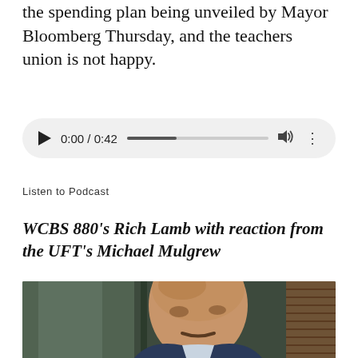the spending plan being unveiled by Mayor Bloomberg Thursday, and the teachers union is not happy.
[Figure (screenshot): Audio player widget showing 0:00 / 0:42 with play button, progress bar, volume icon, and options menu]
Listen to Podcast
WCBS 880's Rich Lamb with reaction from the UFT's Michael Mulgrew
[Figure (photo): Close-up photo of a bald man with a mustache, looking downward, wearing a suit jacket, in front of glass office partitions]